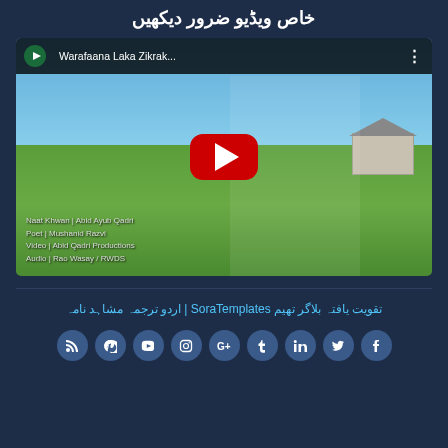خاص ویڈیو ضرور دیکھیں
[Figure (screenshot): YouTube video embed showing 'Warafaana Laka Zikrak...' with a man in white kurta and cap standing outdoors. Bottom-left text reads: Naat Khwan | Abid Ayub Qadri / Poet | Mushanid Razvi / Video | Abid Qadri Productions / Audio | Rao Wasay / RWDS]
تقویت یافتہ بلاگر تھیم SoraTemplates | اردو ترجمہ مشاہد نامہ